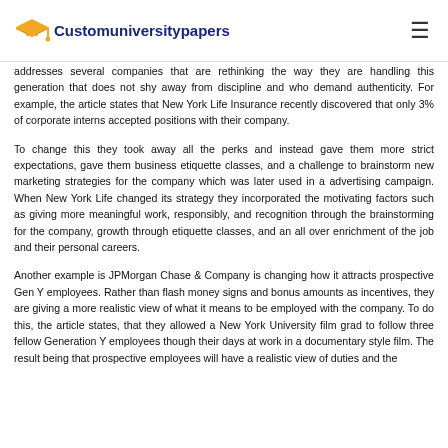Customuniversitypapers
addresses several companies that are rethinking the way they are handling this generation that does not shy away from discipline and who demand authenticity. For example, the article states that New York Life Insurance recently discovered that only 3% of corporate interns accepted positions with their company.
To change this they took away all the perks and instead gave them more strict expectations, gave them business etiquette classes, and a challenge to brainstorm new marketing strategies for the company which was later used in a advertising campaign. When New York Life changed its strategy they incorporated the motivating factors such as giving more meaningful work, responsibly, and recognition through the brainstorming for the company, growth through etiquette classes, and an all over enrichment of the job and their personal careers.
Another example is JPMorgan Chase & Company is changing how it attracts prospective Gen Y employees. Rather than flash money signs and bonus amounts as incentives, they are giving a more realistic view of what it means to be employed with the company. To do this, the article states, that they allowed a New York University film grad to follow three fellow Generation Y employees though their days at work in a documentary style film. The result being that prospective employees will have a realistic view of duties and the